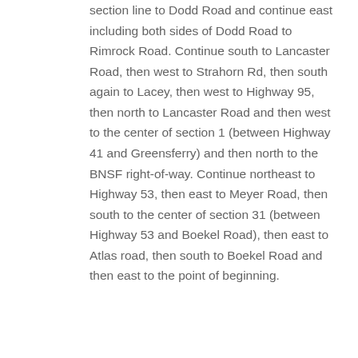section line to Dodd Road and continue east including both sides of Dodd Road to Rimrock Road. Continue south to Lancaster Road, then west to Strahorn Rd, then south again to Lacey, then west to Highway 95, then north to Lancaster Road and then west to the center of section 1 (between Highway 41 and Greensferry) and then north to the BNSF right-of-way. Continue northeast to Highway 53, then east to Meyer Road, then south to the center of section 31 (between Highway 53 and Boekel Road), then east to Atlas road, then south to Boekel Road and then east to the point of beginning.